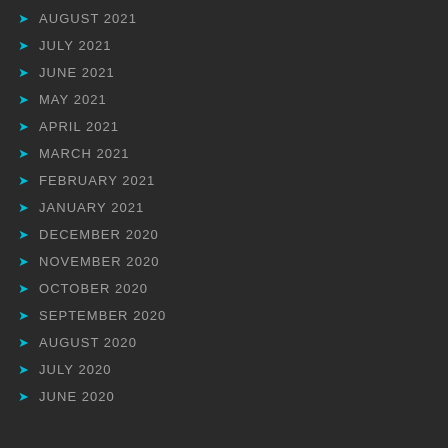AUGUST 2021
JULY 2021
JUNE 2021
MAY 2021
APRIL 2021
MARCH 2021
FEBRUARY 2021
JANUARY 2021
DECEMBER 2020
NOVEMBER 2020
OCTOBER 2020
SEPTEMBER 2020
AUGUST 2020
JULY 2020
JUNE 2020